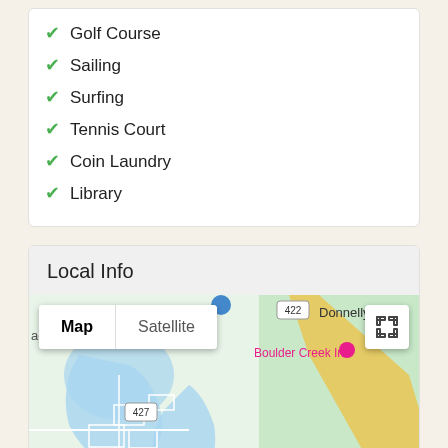Golf Course
Sailing
Surfing
Tennis Court
Coin Laundry
Library
Local Info
[Figure (map): Google Maps view showing area around Boulder Creek Inn in Donnelly, with Map/Satellite toggle controls and expand button. Map shows roads, water bodies (blue areas), and forested/green land. Route 422 and 427 visible. Boulder Creek Inn label in pink.]